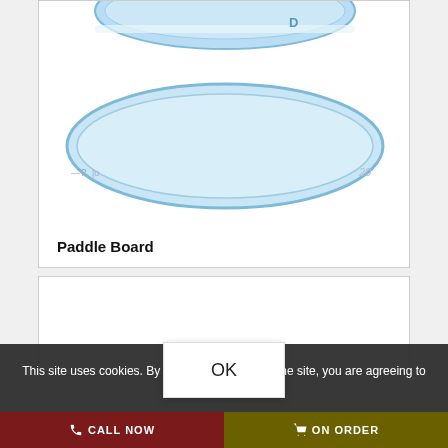[Figure (illustration): A paddle board shown from above, pale blue color with rounded ends, top portion visible at top of card and a full elliptical view in the center. Small measurement/logo marks visible.]
Paddle Board
[Figure (other): Second product card, partially visible, white background with faint product imagery.]
This site uses cookies. By continuing to browse the site, you are agreeing to our use of cookies.
OK
CALL NOW
ON ORDER